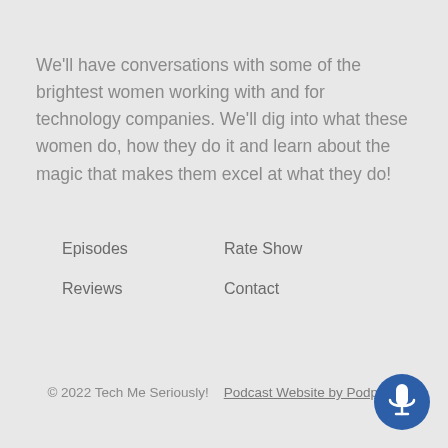We'll have conversations with some of the brightest women working with and for technology companies. We'll dig into what these women do, how they do it and learn about the magic that makes them excel at what they do!
Episodes
Rate Show
Reviews
Contact
© 2022 Tech Me Seriously!    Podcast Website by Podpage
[Figure (illustration): Blue circular microphone button icon in bottom right corner]